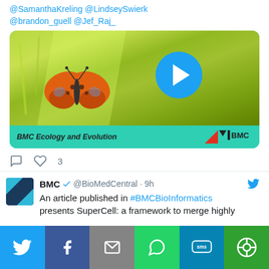@SamanthaKreling @LindseySwierk @brandon_guell @Jef_Raj_
[Figure (screenshot): Twitter video thumbnail showing a butterfly on green grass with a blue play button, branded 'BMC Ecology and Evolution' with BMC logo]
♡ 3
BMC @BioMedCentral · 9h — An article published in #BMCBioInformatics presents SuperCell: a framework to merge highly
[Figure (infographic): Share bar with Twitter (blue), Facebook (dark blue), Email (grey), WhatsApp (green), SMS (blue-green), and another share icon (green)]